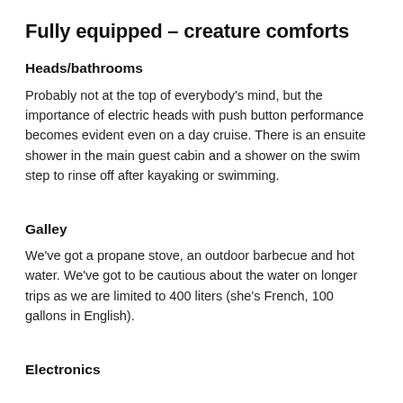Fully equipped – creature comforts
Heads/bathrooms
Probably not at the top of everybody's mind, but the importance of electric heads with push button performance becomes evident even on a day cruise. There is an ensuite shower in the main guest cabin and a shower on the swim step to rinse off after kayaking or swimming.
Galley
We've got a propane stove, an outdoor barbecue and hot water. We've got to be cautious about the water on longer trips as we are limited to 400 liters (she's French, 100 gallons in English).
Electronics